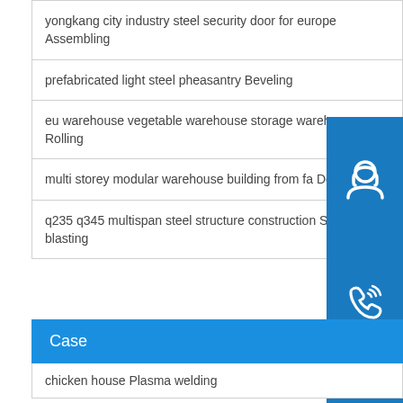yongkang city industry steel security door for europe Assembling
prefabricated light steel pheasantry Beveling
eu warehouse vegetable warehouse storage warehouse Rolling
multi storey modular warehouse building from fa Decoiling
q235 q345 multispan steel structure construction Sand blasting
Case
chicken house Plasma welding